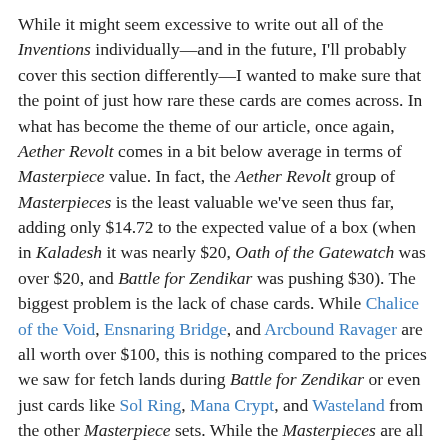While it might seem excessive to write out all of the Inventions individually—and in the future, I'll probably cover this section differently—I wanted to make sure that the point of just how rare these cards are comes across. In what has become the theme of our article, once again, Aether Revolt comes in a bit below average in terms of Masterpiece value. In fact, the Aether Revolt group of Masterpieces is the least valuable we've seen thus far, adding only $14.72 to the expected value of a box (when in Kaladesh it was nearly $20, Oath of the Gatewatch was over $20, and Battle for Zendikar was pushing $30). The biggest problem is the lack of chase cards. While Chalice of the Void, Ensnaring Bridge, and Arcbound Ravager are all worth over $100, this is nothing compared to the prices we saw for fetch lands during Battle for Zendikar or even just cards like Sol Ring, Mana Crypt, and Wasteland from the other Masterpiece sets. While the Masterpieces are all still valuable enough that, if you happen to open one, your box will almost assuredly be worth more than you paid for it, over the long haul, they aren't valuable enough to make cracking box after box worthwhile,